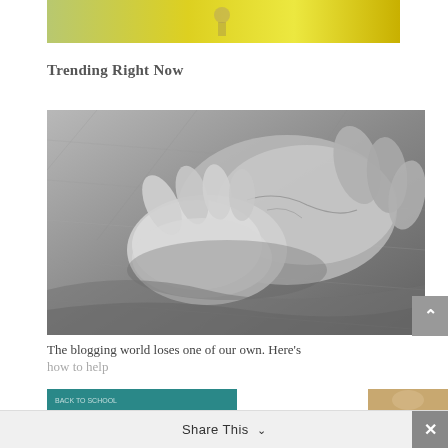[Figure (photo): Partial photo at top of page showing a child running in a yellow flower field]
Trending Right Now
[Figure (photo): Black and white photograph of two hands clasped together, one young and one old, resting on fabric/clothing]
The blogging world loses one of our own. Here's how to help